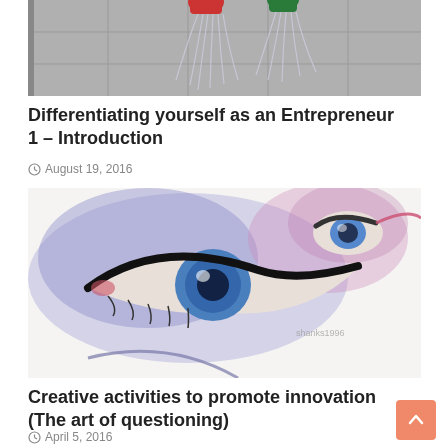[Figure (photo): Black and white photo of shower heads spraying water, with red and green caps visible at the top]
Differentiating yourself as an Entrepreneur 1 – Introduction
August 19, 2016
[Figure (illustration): Detailed watercolor and pencil illustration of a close-up human eye with blue iris, heavy eyeliner, and purple/blue watercolor wash surrounding it. Pink glasses frame visible.]
Creative activities to promote innovation (The art of questioning)
April 5, 2016